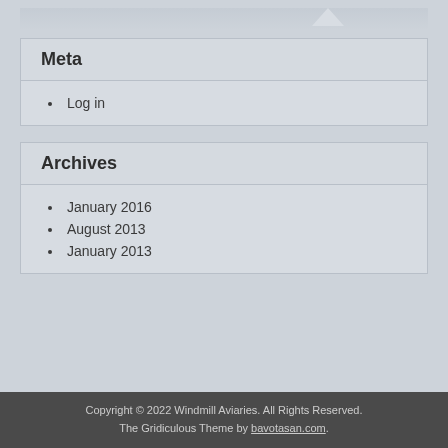Meta
Log in
Archives
January 2016
August 2013
January 2013
Copyright © 2022 Windmill Aviaries. All Rights Reserved. The Gridiculous Theme by bavotasan.com.